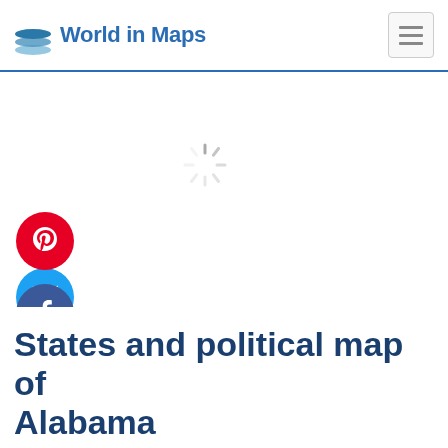World in Maps
[Figure (logo): World in Maps logo with stacked layers icon and blue bold text]
[Figure (infographic): Social media share buttons: Twitter (blue), Pinterest (red), Facebook (dark blue), LinkedIn (blue)]
[Figure (other): Loading spinner icon in center of page]
States and political map of Alabama